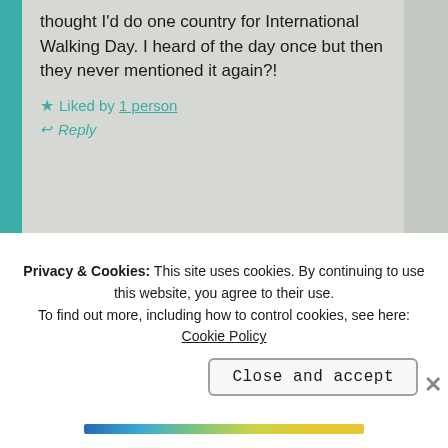thought I'd do one country for International Walking Day. I heard of the day once but then they never mentioned it again?!
★ Liked by 1 person
↩ Reply
ELIZA says:
Privacy & Cookies: This site uses cookies. By continuing to use this website, you agree to their use. To find out more, including how to control cookies, see here: Cookie Policy
Close and accept